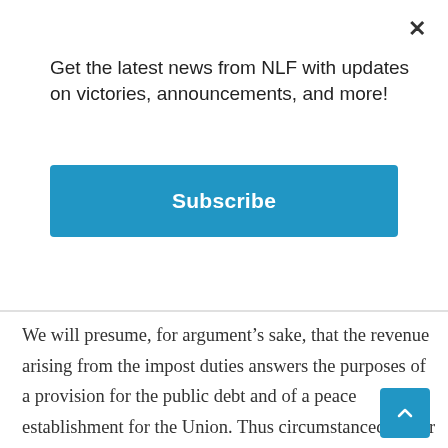×
Get the latest news from NLF with updates on victories, announcements, and more!
Subscribe
We will presume, for argument's sake, that the revenue arising from the impost duties answers the purposes of a provision for the public debt and of a peace establishment for the Union. Thus circumstanced, a war breaks out. What would be the probable conduct of the government in such an emergency? Taught by experience that proper dependence could not be placed on the success of requisitions, unable by its own authority to lay hold of fresh resources, and urged by considerations of national danger,